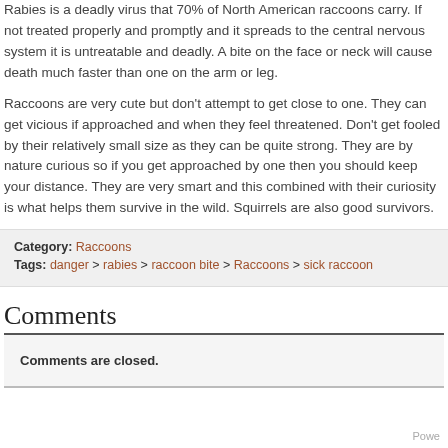Rabies is a deadly virus that 70% of North American raccoons carry. If not treated properly and promptly and it spreads to the central nervous system it is untreatable and deadly. A bite on the face or neck will cause death much faster than one on the arm or leg.
Raccoons are very cute but don't attempt to get close to one. They can get vicious if approached and when they feel threatened. Don't get fooled by their relatively small size as they can be quite strong. They are by nature curious so if you get approached by one then you should keep your distance. They are very smart and this combined with their curiosity is what helps them survive in the wild. Squirrels are also good survivors.
Category: Raccoons
Tags: danger > rabies > raccoon bite > Raccoons > sick raccoon
Comments
Comments are closed.
Powe